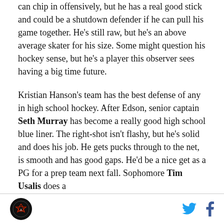can chip in offensively, but he has a real good stick and could be a shutdown defender if he can pull his game together. He's still raw, but he's an above average skater for his size. Some might question his hockey sense, but he's a player this observer sees having a big time future.
Kristian Hanson's team has the best defense of any in high school hockey. After Edson, senior captain Seth Murray has become a really good high school blue liner. The right-shot isn't flashy, but he's solid and does his job. He gets pucks through to the net, is smooth and has good gaps. He'd be a nice get as a PG for a prep team next fall. Sophomore Tim Usalis does a
[Figure (logo): Circular black logo with a hockey-related emblem in the footer]